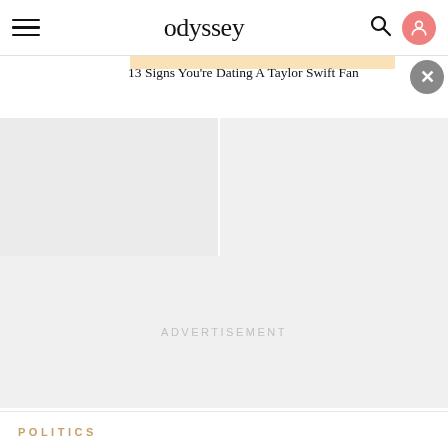odyssey
13 Signs You're Dating A Taylor Swift Fan
[Figure (other): Two grey placeholder image blocks side by side below the article link]
ADVERTISEMENT
POLITICS